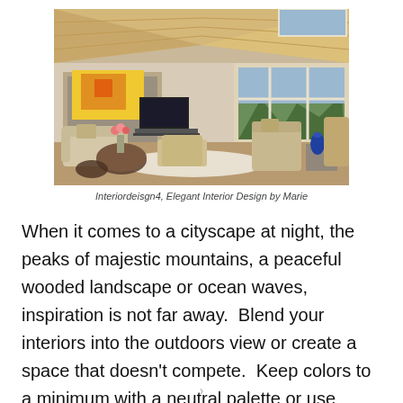[Figure (photo): Interior photo of a bright, modern living room with vaulted wood ceiling, large windows with views of mountains and trees, a fireplace with yellow artwork above, TV, neutral-toned sofas, ottomans, glass coffee table with pink tulips, and a blue vase.]
Interiordeisgn4, Elegant Interior Design by Marie
When it comes to a cityscape at night, the peaks of majestic mountains, a peaceful wooded landscape or ocean waves, inspiration is not far away.  Blend your interiors into the outdoors view or create a space that doesn't compete.  Keep colors to a minimum with a neutral palette or use colors from what is in front of you out the window...